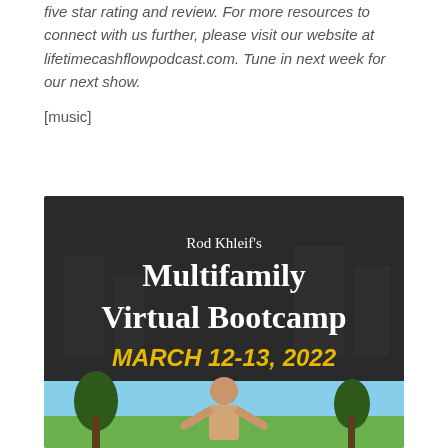five star rating and review. For more resources to connect with us further, please visit our website at lifetimecashflowpodcast.com. Tune in next week for our next show.
[music]
[Figure (illustration): Advertisement banner for Rod Khleif's Multifamily Virtual Bootcamp, March 12-13, 2022, with dark background, white bold serif text, yellow italic date, and a photo section showing a person outdoors with trees and blue sky.]